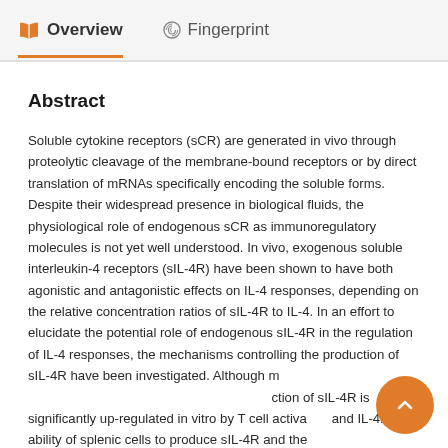Overview   Fingerprint
Abstract
Soluble cytokine receptors (sCR) are generated in vivo through proteolytic cleavage of the membrane-bound receptors or by direct translation of mRNAs specifically encoding the soluble forms. Despite their widespread presence in biological fluids, the physiological role of endogenous sCR as immunoregulatory molecules is not yet well understood. In vivo, exogenous soluble interleukin-4 receptors (sIL-4R) have been shown to have both agonistic and antagonistic effects on IL-4 responses, depending on the relative concentration ratios of sIL-4R to IL-4. In an effort to elucidate the potential role of endogenous sIL-4R in the regulation of IL-4 responses, the mechanisms controlling the production of sIL-4R have been investigated. Although many cell types are able to constitutively produce low levels, production of sIL-4R is significantly up-regulated in vitro by T cell activation and IL-4. The ability of splenic cells to produce sIL-4R and the